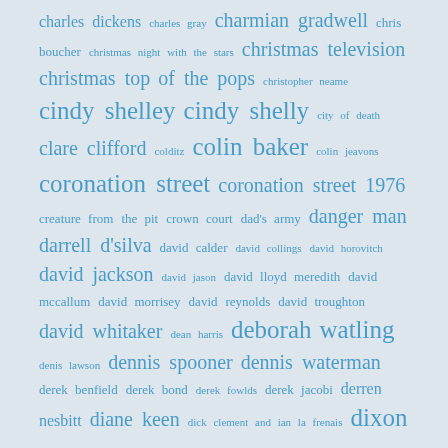[Figure (infographic): Tag cloud / word cloud of names and TV show titles in various sizes of blue text on a light blue-grey background. Terms include: charles dickens, charles gray, charmian gradwell, chris boucher, christmas night with the stars, christmas television, christmas top of the pops, christopher neame, cindy shelley, cindy shelly, city of death, clare clifford, colditz, colin baker, colin jeavons, coronation street, coronation street 1976, creature from the pit, crown court, dad's army, danger man, darrell d'silva, david calder, david collings, david horovitch, david jackson, david jason, david lloyd meredith, david mccallum, david morrisey, david reynolds, david troughton, david whitaker, dean harris, deborah watling, denis lawson, dennis spooner, dennis waterman, derek benfield, derek bond, derek fowlds, derek jacobi, derren nesbitt, diane keen, dick clement and ian la frenais, dixon of dock green, doctor who, doctor who comic strip, donald cotton, donald houston, donald pleasence, donald sinden, doomwatch, douglas camfield, douglas wilmer, dulcie gray, dulcie grey, edward highmore, edward woodward, elisabeth sladen, elizabeth shepherd, elizabeth weaver, elwyn jones, emma relph, eric idle, erin geraghty, espionage]